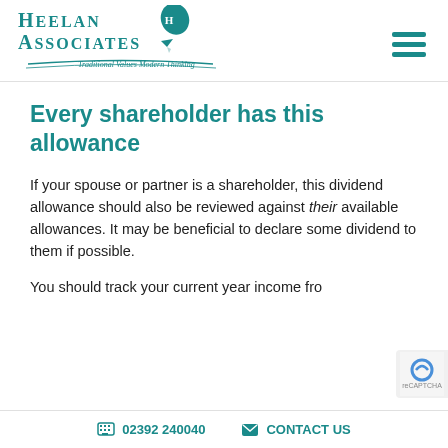Heelan Associates — Traditional Values Modern Thinking
Every shareholder has this allowance
If your spouse or partner is a shareholder, this dividend allowance should also be reviewed against their available allowances. It may be beneficial to declare some dividend to them if possible.
You should track your current year income from
02392 240040   CONTACT US